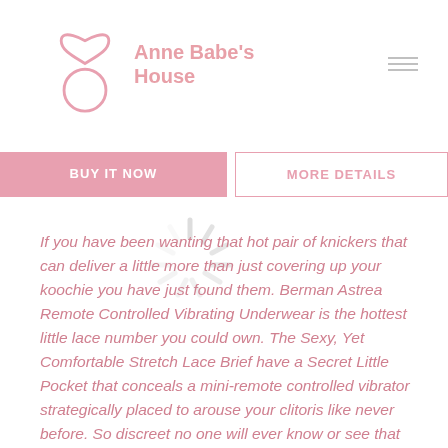Anne Babe's House
BUY IT NOW | MORE DETAILS
If you have been wanting that hot pair of knickers that can deliver a little more than just covering up your koochie you have just found them. Berman Astrea Remote Controlled Vibrating Underwear is the hottest little lace number you could own. The Sexy, Yet Comfortable Stretch Lace Brief have a Secret Little Pocket that conceals a mini-remote controlled vibrator strategically placed to arouse your clitoris like never before. So discreet no one will ever know or see that you are wearing the ultimate pair of knickers! The only thing that may give you away is yourself and your moans of pleasure. Perfectly Contoured for Comfort it will feel like wearing any other pair of knickers, until someone activates the